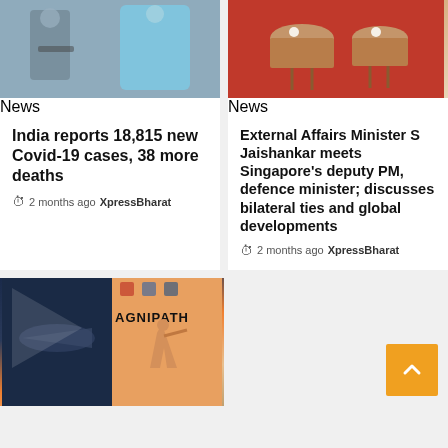[Figure (photo): Photo of people, one in blue medical gown, related to Covid-19]
India reports 18,815 new Covid-19 cases, 38 more deaths
2 months ago  XpressBharat
[Figure (photo): Photo of two people in a meeting room with red background and marble tables]
External Affairs Minister S Jaishankar meets Singapore's deputy PM, defence minister; discusses bilateral ties and global developments
2 months ago  XpressBharat
[Figure (photo): Agnipath scheme promotional image showing a soldier silhouette with the word AGNIPATH and military officers in uniform]